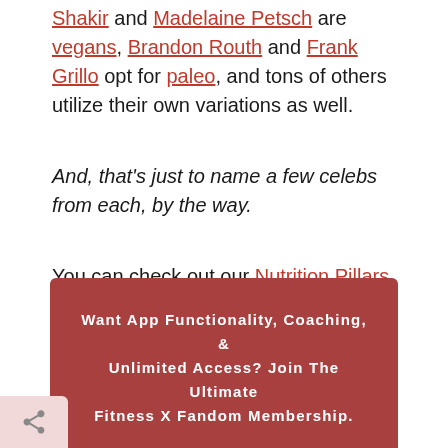Shakir and Madelaine Petsch are vegans, Brandon Routh and Frank Grillo opt for paleo, and tons of others utilize their own variations as well.
And, that's just to name a few celebs from each, by the way.
You can check out our Nutrition Pillars for more information and articles on all of the above and more.
Want App Functionality, Coaching, & Unlimited Access? Join The Ultimate Fitness X Fandom Membership.